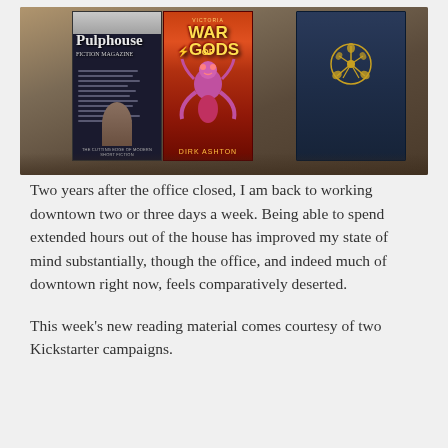[Figure (photo): Three books/magazines laid on a surface. Left: Pulphouse fiction magazine with a dark cover showing a figure on a hilltop. Center: 'War of Gods' by Dirk Ashton with a demon creature on a fiery red cover. Right: A dark navy blue hardcover book with a gold tree/Celtic emblem on the cover.]
Two years after the office closed, I am back to working downtown two or three days a week. Being able to spend extended hours out of the house has improved my state of mind substantially, though the office, and indeed much of downtown right now, feels comparatively deserted.
This week's new reading material comes courtesy of two Kickstarter campaigns.